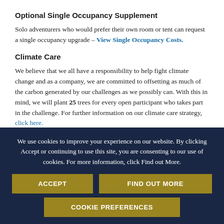Optional Single Occupancy Supplement
Solo adventurers who would prefer their own room or tent can request a single occupancy upgrade – View Single Occupancy Costs.
Climate Care
We believe that we all have a responsibility to help fight climate change and as a company, we are committed to offsetting as much of the carbon generated by our challenges as we possibly can. With this in mind, we will plant 25 trees for every open participant who takes part in the challenge. For further information on our climate care strategy, click here.
We use cookies to improve your experience on our website. By clicking Accept or continuing to use this site, you are consenting to our use of cookies. For more information, click Find out More.
ACCEPT
FIND OUT MORE
COOKIE PREFERENCES